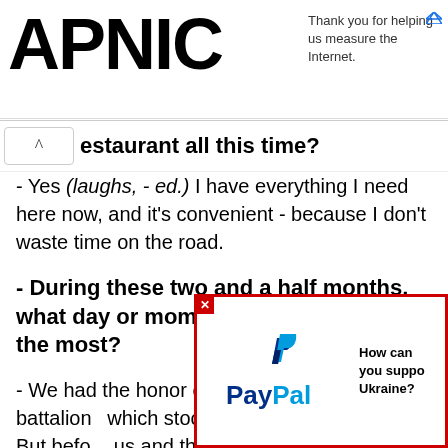APNIC
Thank you for helping us measure the Internet.
restaurant all this time?
- Yes (laughs, - ed.) I have everything I need here now, and it's convenient - because I don't waste time on the road.
- During these two and a half months, what day or moment do you remember the most?
- We had the honor of feeding one of the battalions which stood on... Then the boys went east. But before... us and thanked the whole team.
[Figure (logo): PayPal logo with text 'How can you support Ukraine?']